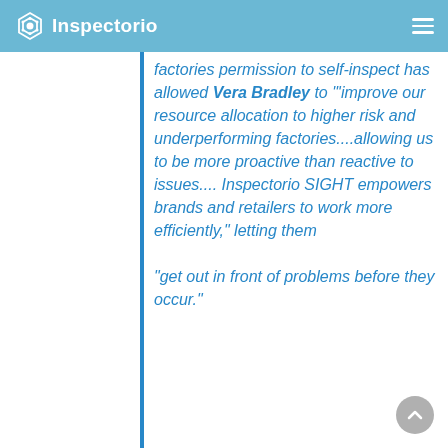Inspectorio
factories permission to self-inspect has allowed Vera Bradley to "'improve our resource allocation to higher risk and underperforming factories....allowing us to be more proactive than reactive to issues.... Inspectorio SIGHT empowers brands and retailers to work more efficiently," letting them "get out in front of problems before they occur."